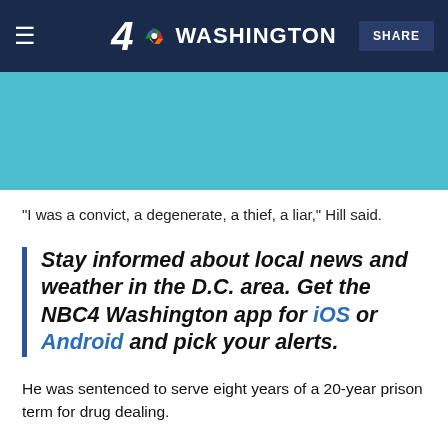4 NBC WASHINGTON   SHARE
[Figure (photo): Teal/turquoise colored image placeholder]
“I was a convict, a degenerate, a thief, a liar,” Hill said.
Stay informed about local news and weather in the D.C. area. Get the NBC4 Washington app for iOS or Android and pick your alerts.
He was sentenced to serve eight years of a 20-year prison term for drug dealing.